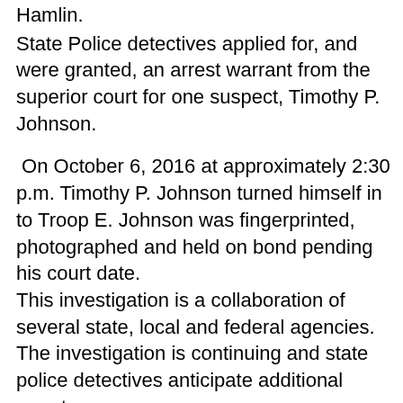Hamlin.
State Police detectives applied for, and were granted, an arrest warrant from the superior court for one suspect, Timothy P. Johnson.
On October 6, 2016 at approximately 2:30 p.m. Timothy P. Johnson turned himself in to Troop E. Johnson was fingerprinted, photographed and held on bond pending his court date.
This investigation is a collaboration of several state, local and federal agencies.
The investigation is continuing and state police detectives anticipate additional arrests.
Arrested:    Timothy P. Johnson (dob 7/26/84)
             495 Laurel Hill Rd. apt. 2L
             Norwich, CT.
Charges:     Felony Murder